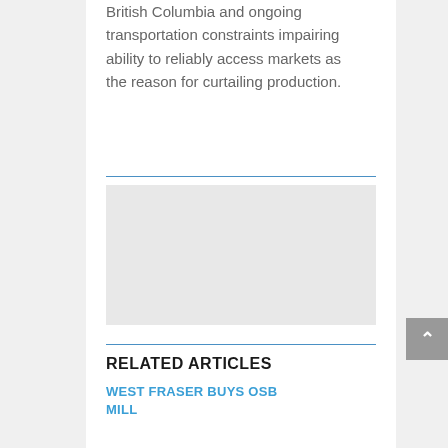British Columbia and ongoing transportation constraints impairing ability to reliably access markets as the reason for curtailing production.
[Figure (other): Gray advertisement placeholder box]
RELATED ARTICLES
WEST FRASER BUYS OSB MILL